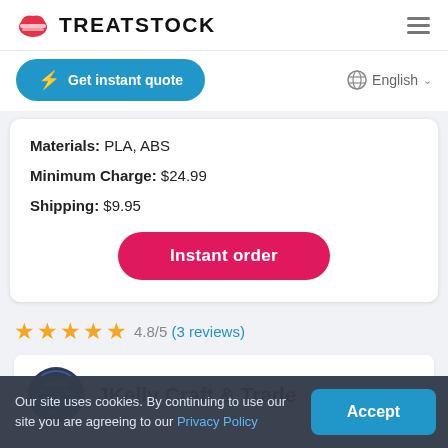TREATSTOCK
Get instant quote
English
Materials: PLA, ABS
Minimum Charge: $24.99
Shipping: $9.95
Instant order
4.8/5 (3 reviews)
JKelly Craft & Trade
Our site uses cookies. By continuing to use our site you are agreeing to our Privacy Policy
Accept